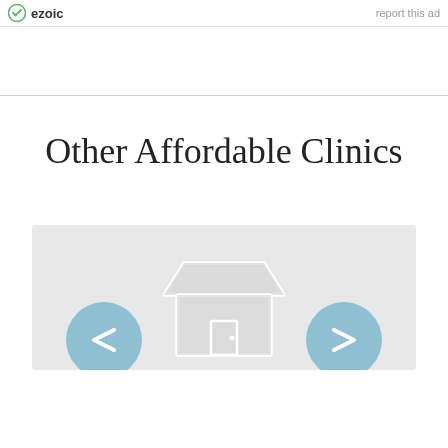ezoic   report this ad
Other Affordable Clinics
[Figure (illustration): A carousel widget showing a store/clinic icon in the center with light blue navigation arrow buttons on the left and right sides, set against a light gray background.]